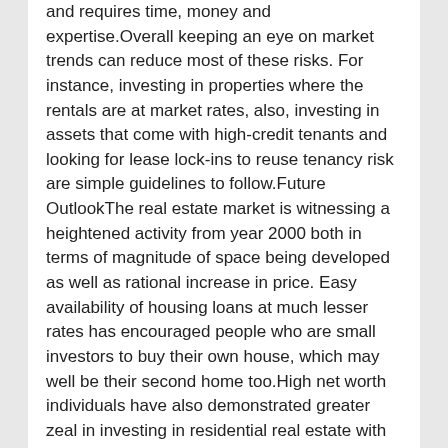and requires time, money and expertise.Overall keeping an eye on market trends can reduce most of these risks. For instance, investing in properties where the rentals are at market rates, also, investing in assets that come with high-credit tenants and looking for lease lock-ins to reuse tenancy risk are simple guidelines to follow.Future OutlookThe real estate market is witnessing a heightened activity from year 2000 both in terms of magnitude of space being developed as well as rational increase in price. Easy availability of housing loans at much lesser rates has encouraged people who are small investors to buy their own house, which may well be their second home too.High net worth individuals have also demonstrated greater zeal in investing in residential real estate with an intention of reaping capital appreciation and simultaneously securing regular returns.In the wake of strong economic growth, real estate market should continue to gain momentum resulting in falling vacancies in CBD areas and more development in suburbs; it is unlikely that commercial property prices will rise or fall significantly, beyond rational reasoning.As the stamp duty on leave and license agreements has been further